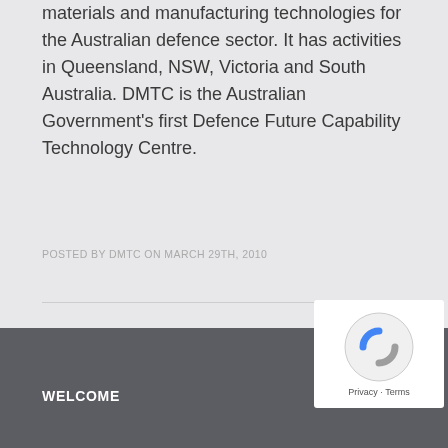materials and manufacturing technologies for the Australian defence sector. It has activities in Queensland, NSW, Victoria and South Australia. DMTC is the Australian Government's first Defence Future Capability Technology Centre.
POSTED BY DMTC ON MARCH 29TH, 2010
WELCOME